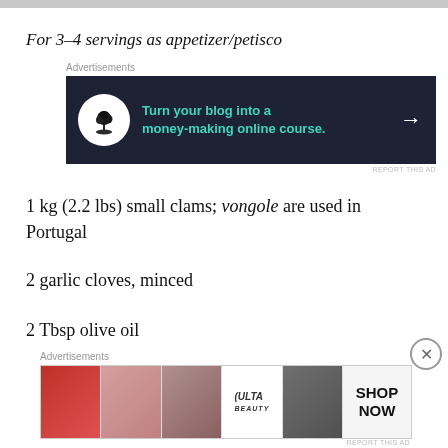For 3-4 servings as appetizer/petisco
[Figure (other): Advertisement banner: dark navy background with bonsai tree icon, teal text 'Turn your blog into a money-making online course.' and a right arrow.]
1 kg (2.2 lbs) small clams; vongole are used in Portugal
2 garlic cloves, minced
2 Tbsp olive oil
[Figure (other): Advertisement banner: beauty/makeup themed with multiple face photos (lips, eyes, brushes) and ULTA beauty logo with 'SHOP NOW' button.]